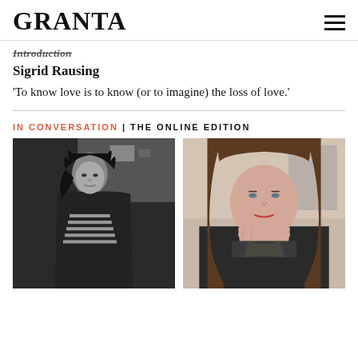GRANTA
Introduction
Sigrid Rausing
'To know love is to know (or to imagine) the loss of love.'
IN CONVERSATION | THE ONLINE EDITION
[Figure (photo): Black and white photo of a woman with dark hair wearing a striped top and dark coat, photographed outdoors against a building]
[Figure (photo): Color photo of a woman with long brown hair, resting her chin on her hand, looking directly at the camera]